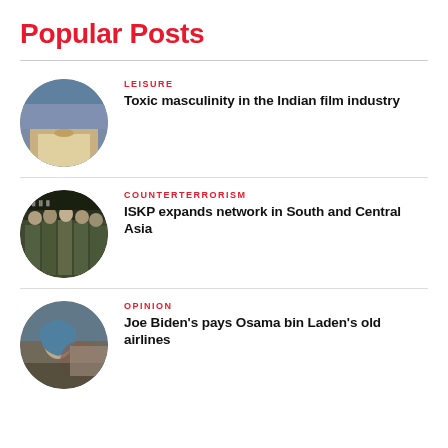Popular Posts
[Figure (photo): Circular portrait photo of a woman speaking at a microphone, wearing a light-colored blazer]
LEISURE
Toxic masculinity in the Indian film industry
[Figure (photo): Circular photo of armed soldiers/militants in military gear]
COUNTERTERRORISM
ISKP expands network in South and Central Asia
[Figure (photo): Circular photo of a woman wearing a blue head covering in a cafe or restaurant setting]
OPINION
Joe Biden's pays Osama bin Laden's old airlines